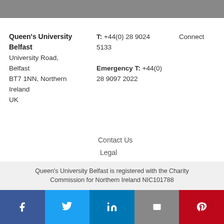[Figure (other): Gray horizontal banner bar at the top of the page]
Queen's University Belfast
University Road,
Belfast
BT7 1NN, Northern Ireland
UK
T: +44(0) 28 9024 5133
Emergency T: +44(0) 28 9097 2022
Connect
Contact Us
Legal
Accessibility
Queen's University Belfast is registered with the Charity Commission for Northern Ireland NIC101788
[Figure (infographic): Social media icon bar with Facebook, Twitter, LinkedIn, email, and Pinterest icons]